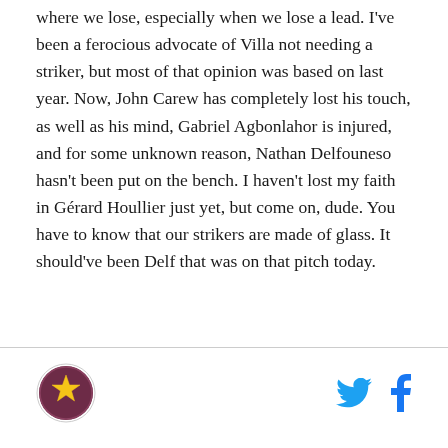where we lose, especially when we lose a lead. I've been a ferocious advocate of Villa not needing a striker, but most of that opinion was based on last year. Now, John Carew has completely lost his touch, as well as his mind, Gabriel Agbonlahor is injured, and for some unknown reason, Nathan Delfouneso hasn't been put on the bench. I haven't lost my faith in Gérard Houllier just yet, but come on, dude. You have to know that our strikers are made of glass. It should've been Delf that was on that pitch today.
Logo and social media icons